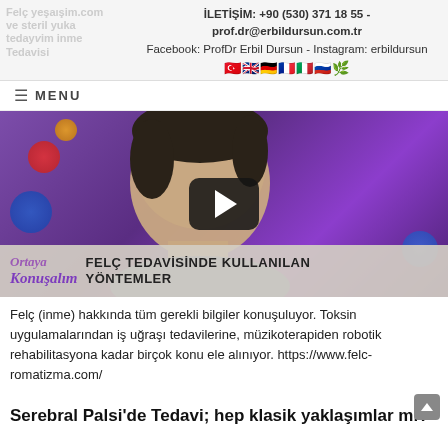İLETİŞİM: +90 (530) 371 18 55  -  prof.dr@erbildursun.com.tr
Facebook: ProfDr Erbil Dursun - Instagram: erbildursun
Felç yeşaışim.com ve steril yuka teday vim inme Tedavisi
[Figure (screenshot): Video thumbnail showing a man on a TV show 'Ortaya Konuşalım' with title bar reading 'FELÇ TEDAVİSİNDE KULLANILAN YÖNTEMLER' and a play button overlay. Purple studio background with colorful dots.]
Felç (inme) hakkında tüm gerekli bilgiler konuşuluyor. Toksin uygulamalarından iş uğraşı tedavilerine, müzikoterapiden robotik rehabilitasyona kadar birçok konu ele alınıyor. https://www.felc-romatizma.com/
Serebral Palsi'de Tedavi; hep klasik yaklaşımlar mı?